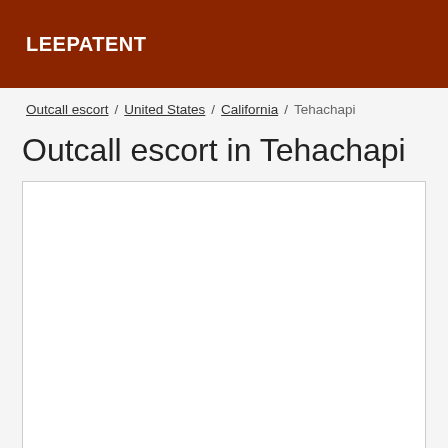LEEPATENT
Outcall escort / United States / California / Tehachapi
Outcall escort in Tehachapi
[Figure (other): Empty white content box with border]